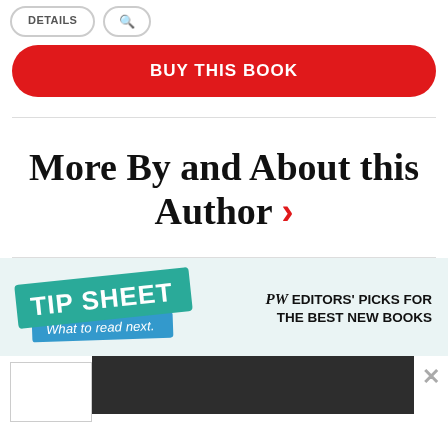[Figure (screenshot): Two rounded-rectangle buttons: 'DETAILS' and a search icon button]
[Figure (other): Red rounded-rectangle 'BUY THIS BOOK' button]
More By and About this Author >
[Figure (infographic): PW Tip Sheet advertisement: teal 'TIP SHEET' logo with 'What to read next.' subtext and 'PW EDITORS' PICKS FOR THE BEST NEW BOOKS' text on light blue background]
[Figure (screenshot): Bottom bar with white thumbnail box and dark book cover image, with X close button]